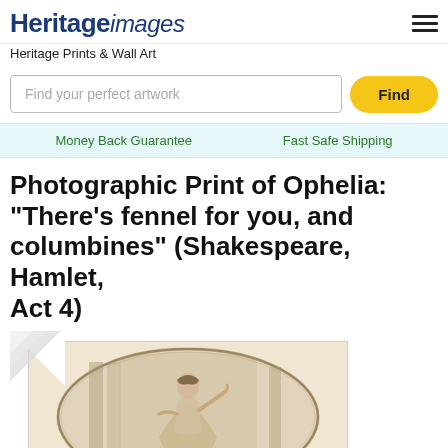Heritage images
Heritage Prints & Wall Art
Find your perfect artwork
Find
Money Back Guarantee
Fast Safe Shipping
Photographic Print of Ophelia: "There's fennel for you, and columbines" (Shakespeare, Hamlet, Act 4)
[Figure (illustration): Antique engraving illustration of Ophelia from Shakespeare's Hamlet, shown within an oval frame on cream/sepia paper with a curled corner effect. The figure of Ophelia is depicted in a classical style with architectural columns in the background.]